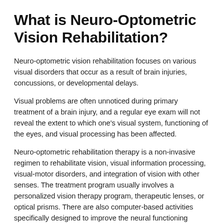What is Neuro-Optometric Vision Rehabilitation?
Neuro-optometric vision rehabilitation focuses on various visual disorders that occur as a result of brain injuries, concussions, or developmental delays.
Visual problems are often unnoticed during primary treatment of a brain injury, and a regular eye exam will not reveal the extent to which one's visual system, functioning of the eyes, and visual processing has been affected.
Neuro-optometric rehabilitation therapy is a non-invasive regimen to rehabilitate vision, visual information processing, visual-motor disorders, and integration of vision with other senses. The treatment program usually involves a personalized vision therapy program, therapeutic lenses, or optical prisms. There are also computer-based activities specifically designed to improve the neural functioning following a TBI.
The vision therapy used as part of neuro-optometric rehabilitation